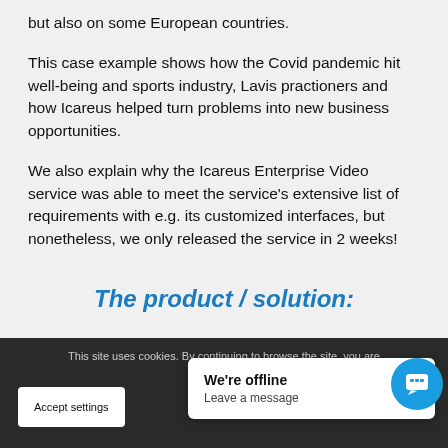but also on some European countries.
This case example shows how the Covid pandemic hit well-being and sports industry, Lavis practioners and how Icareus helped turn problems into new business opportunities.
We also explain why the Icareus Enterprise Video service was able to meet the service's extensive list of requirements with e.g. its customized interfaces, but nonetheless, we only released the service in 2 weeks!
The product / solution:
This site uses cookies. By continuing to browse the site, you are agree...
We're offline
Leave a message